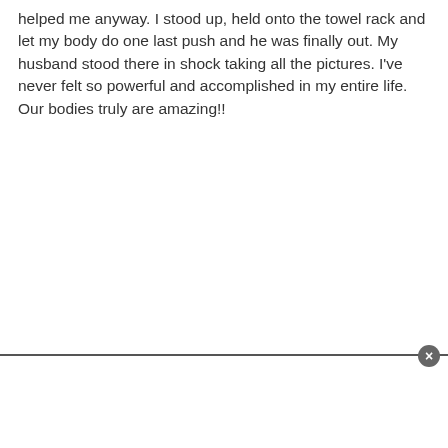helped me anyway. I stood up, held onto the towel rack and let my body do one last push and he was finally out. My husband stood there in shock taking all the pictures. I've never felt so powerful and accomplished in my entire life. Our bodies truly are amazing!!
[Figure (other): Advertisement box at bottom of page with close button (X) in top-right corner]